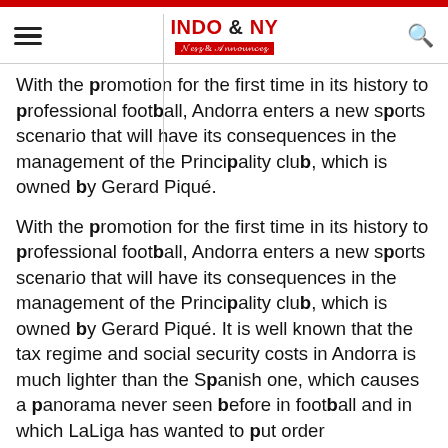INDO & NY News & Announces
With the promotion for the first time in its history to professional football, Andorra enters a new sports scenario that will have its consequences in the management of the Principality club, which is owned by Gerard Piqué.
With the promotion for the first time in its history to professional football, Andorra enters a new sports scenario that will have its consequences in the management of the Principality club, which is owned by Gerard Piqué. It is well known that the tax regime and social security costs in Andorra is much lighter than the Spanish one, which causes a panorama never seen before in football and in which LaLiga has wanted to put order immediately, although there are still more than two months to go before the start of